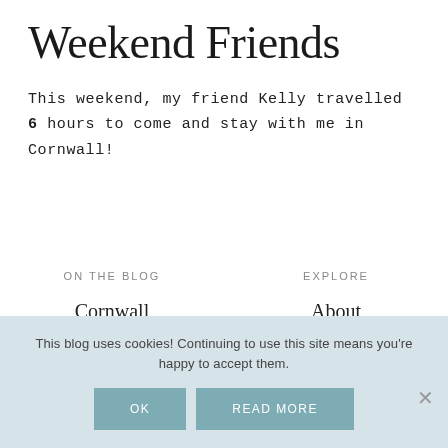Weekend Friends
This weekend, my friend Kelly travelled 6 hours to come and stay with me in Cornwall!
ON THE BLOG
Cornwall
Fashion
Green
Food & Drink
EXPLORE
About
Contact
Privacy & Cookies
Terms of Use
This blog uses cookies! Continuing to use this site means you're happy to accept them.